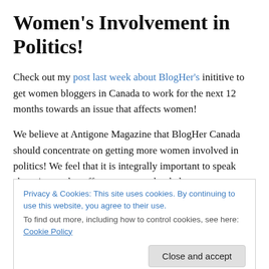Women's Involvement in Politics!
Check out my post last week about BlogHer's inititive to get women bloggers in Canada to work for the next 12 months towards an issue that affects women!
We believe at Antigone Magazine that BlogHer Canada should concentrate on getting more women involved in politics! We feel that it is integrally important to speak about issues that affect women and to help empower
Privacy & Cookies: This site uses cookies. By continuing to use this website, you agree to their use.
To find out more, including how to control cookies, see here: Cookie Policy
politicians in the past who have been the voice that made